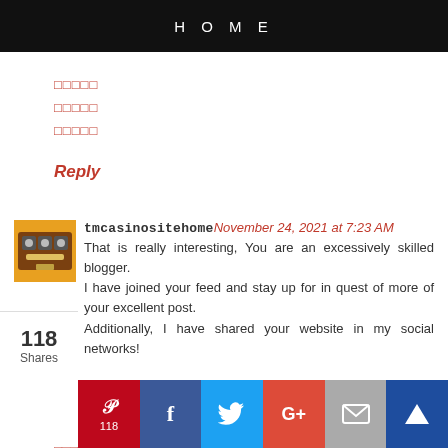HOME
□□□□□
□□□□□
□□□□□
Reply
[Figure (illustration): Orange avatar icon with casino/slot machine imagery]
tmcasinositehome November 24, 2021 at 7:23 AM
That is really interesting, You are an excessively skilled blogger.
I have joined your feed and stay up for in quest of more of your excellent post.
Additionally, I have shared your website in my social networks!
□□□□□
□□
118 Shares